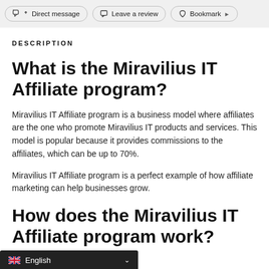Direct message  Leave a review  Bookmark
DESCRIPTION
What is the Miravilius IT Affiliate program?
Miravilius IT Affiliate program is a business model where affiliates are the one who promote Miravilius IT products and services. This model is popular because it provides commissions to the affiliates, which can be up to 70%.
Miravilius IT Affiliate program is a perfect example of how affiliate marketing can help businesses grow.
How does the Miravilius IT Affiliate program work?